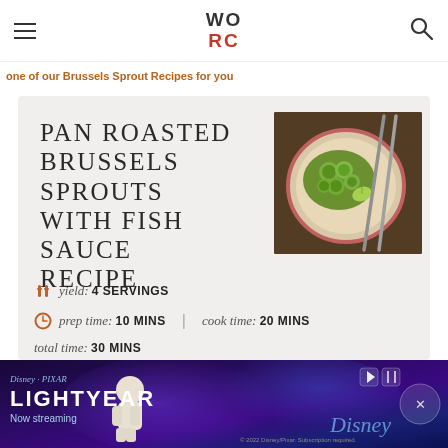WORC
one of our Brussels Sprout Recipes for you
PAN ROASTED BRUSSELS SPROUTS WITH FISH SAUCE RECIPE
[Figure (photo): Pan roasted Brussels sprouts in a decorative plate with chopsticks on a dark wooden surface]
yield: 4 SERVINGS
prep time: 10 MINS   cook time: 20 MINS
total time: 30 MINS
[Figure (photo): Disney Pixar Lightyear advertisement banner - Now streaming]